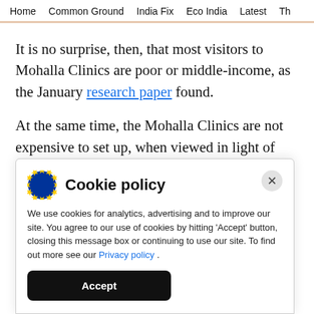Home  Common Ground  India Fix  Eco India  Latest  Th
It is no surprise, then, that most visitors to Mohalla Clinics are poor or middle-income, as the January research paper found.
At the same time, the Mohalla Clinics are not expensive to set up, when viewed in light of their
Cookie policy
We use cookies for analytics, advertising and to improve our site. You agree to our use of cookies by hitting 'Accept' button, closing this message box or continuing to use our site. To find out more see our Privacy policy .
Accept